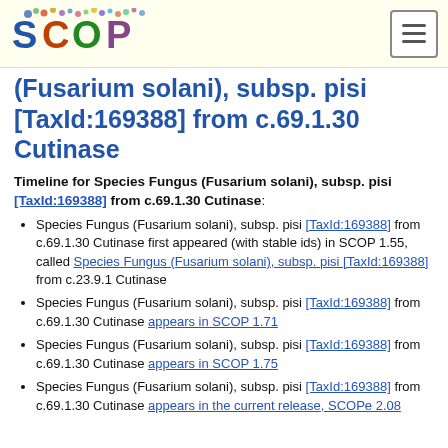SCOP logo and navigation
(Fusarium solani), subsp. pisi [TaxId:169388] from c.69.1.30 Cutinase
Timeline for Species Fungus (Fusarium solani), subsp. pisi [TaxId:169388] from c.69.1.30 Cutinase:
Species Fungus (Fusarium solani), subsp. pisi [TaxId:169388] from c.69.1.30 Cutinase first appeared (with stable ids) in SCOP 1.55, called Species Fungus (Fusarium solani), subsp. pisi [TaxId:169388] from c.23.9.1 Cutinase
Species Fungus (Fusarium solani), subsp. pisi [TaxId:169388] from c.69.1.30 Cutinase appears in SCOP 1.71
Species Fungus (Fusarium solani), subsp. pisi [TaxId:169388] from c.69.1.30 Cutinase appears in SCOP 1.75
Species Fungus (Fusarium solani), subsp. pisi [TaxId:169388] from c.69.1.30 Cutinase appears in the current release, SCOPe 2.08